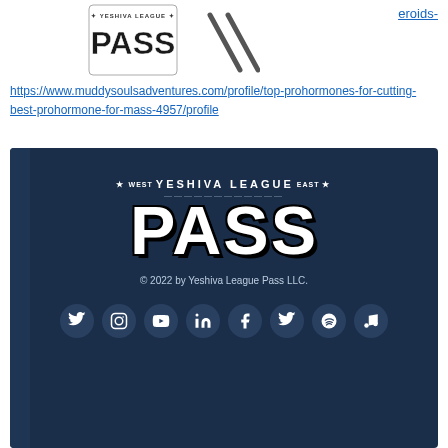[Figure (logo): Yeshiva League Pass logo - small version in header]
eroids-
[Figure (illustration): Diagonal hash lines graphic]
https://www.muddysoulsadventures.com/profile/top-prohormones-for-cutting-best-prohormone-for-mass-4957/profile
[Figure (logo): Yeshiva League Pass footer banner with dark navy background, logo, copyright, and social media icons]
© 2022 by Yeshiva League Pass LLC.